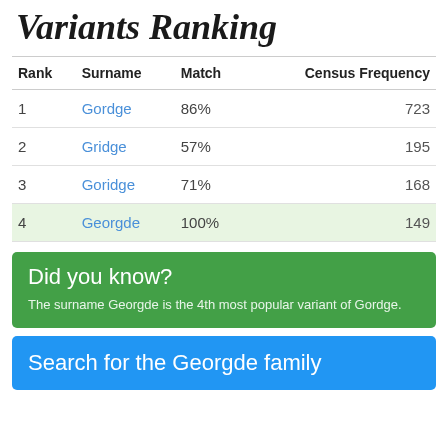Variants Ranking
| Rank | Surname | Match | Census Frequency |
| --- | --- | --- | --- |
| 1 | Gordge | 86% | 723 |
| 2 | Gridge | 57% | 195 |
| 3 | Goridge | 71% | 168 |
| 4 | Georgde | 100% | 149 |
Did you know?
The surname Georgde is the 4th most popular variant of Gordge.
Search for the Georgde family